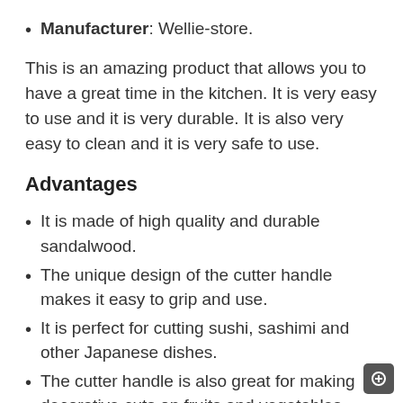Manufacturer: Wellie-store.
This is an amazing product that allows you to have a great time in the kitchen. It is very easy to use and it is very durable. It is also very easy to clean and it is very safe to use.
Advantages
It is made of high quality and durable sandalwood.
The unique design of the cutter handle makes it easy to grip and use.
It is perfect for cutting sushi, sashimi and other Japanese dishes.
The cutter handle is also great for making decorative cuts on fruits and vegetables.